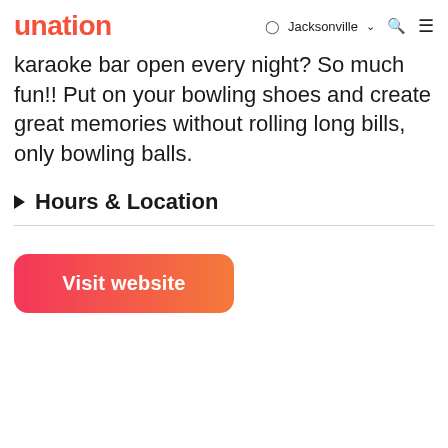unation  Jacksonville  🔍  ≡
karaoke bar open every night? So much fun!! Put on your bowling shoes and create great memories without rolling long bills, only bowling balls.
Hours & Location
Visit website